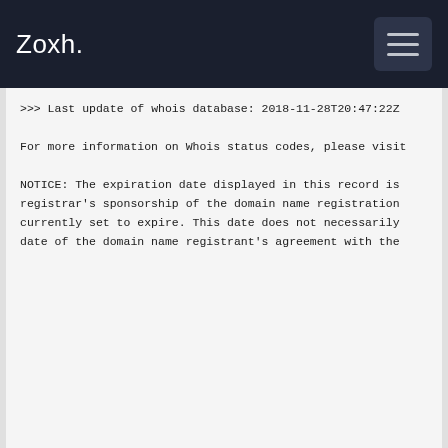Zoxh.
>>> Last update of whois database: 2018-11-28T20:47:22Z

For more information on Whois status codes, please visit

NOTICE: The expiration date displayed in this record is registrar's sponsorship of the domain name registration currently set to expire. This date does not necessarily date of the domain name registrant's agreement with the